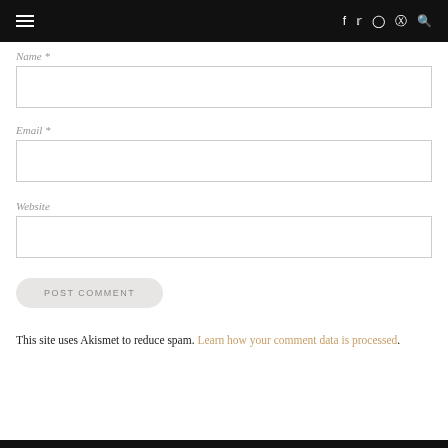Navigation bar with hamburger menu and social icons (f, twitter, instagram, pinterest, search)
Name *
Email *
Website
POST COMMENT
This site uses Akismet to reduce spam. Learn how your comment data is processed.